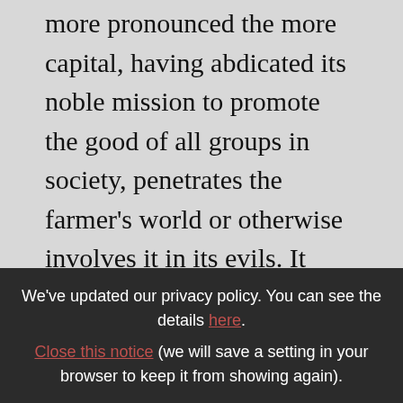more pronounced the more capital, having abdicated its noble mission to promote the good of all groups in society, penetrates the farmer's world or otherwise involves it in its evils. It glitters its gold and a life of pleasure before the dazzled eyes of the farm-worker to lure him from his land to the city where he may squander his hard-won savings. The city usually holds nothing for him but disillusionment; often he loses his health, his strength, his happiness, his honor, and his
We've updated our privacy policy. You can see the details here. Close this notice (we will save a setting in your browser to keep it from showing again).